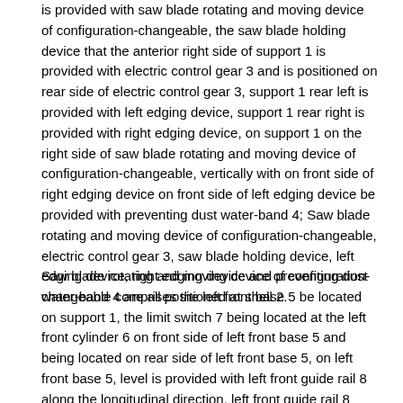is provided with saw blade rotating and moving device of configuration-changeable, the saw blade holding device that the anterior right side of support 1 is provided with electric control gear 3 and is positioned on rear side of electric control gear 3, support 1 rear left is provided with left edging device, support 1 rear right is provided with right edging device, on support 1 on the right side of saw blade rotating and moving device of configuration-changeable, vertically with on front side of right edging device on front side of left edging device be provided with preventing dust water-band 4; Saw blade rotating and moving device of configuration-changeable, electric control gear 3, saw blade holding device, left edging device, right edging device and preventing dust water-band 4 are all positioned at shell 2.
Saw blade rotating and moving device of configuration-changeable comprises the left front base 5 be located on support 1, the limit switch 7 being located at the left front cylinder 6 on front side of left front base 5 and being located on rear side of left front base 5, on left front base 5, level is provided with left front guide rail 8 along the longitudinal direction, left front guide rail 8 slidably